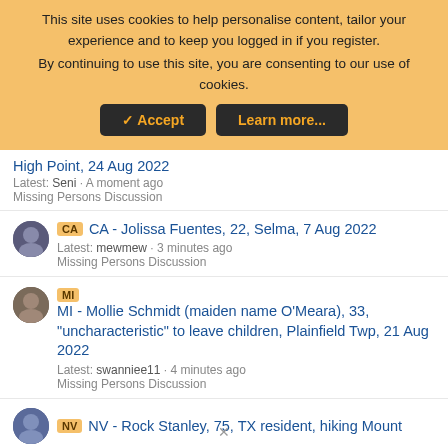This site uses cookies to help personalise content, tailor your experience and to keep you logged in if you register. By continuing to use this site, you are consenting to our use of cookies.
✓ Accept | Learn more...
High Point, 24 Aug 2022
Latest: Seni · A moment ago
Missing Persons Discussion
CA - Jolissa Fuentes, 22, Selma, 7 Aug 2022
Latest: mewmew · 3 minutes ago
Missing Persons Discussion
MI - Mollie Schmidt (maiden name O'Meara), 33, "uncharacteristic" to leave children, Plainfield Twp, 21 Aug 2022
Latest: swanniee11 · 4 minutes ago
Missing Persons Discussion
NV - Rock Stanley, 75, TX resident, hiking Mount ...